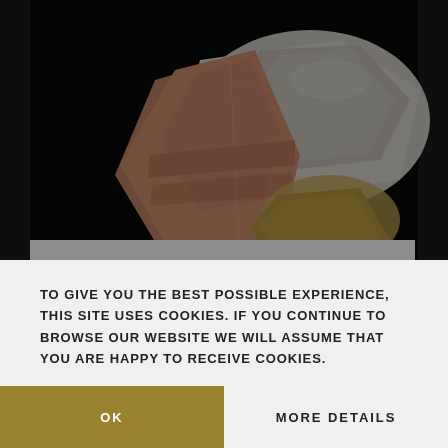[Figure (photo): Photograph of a Beryl var Aquamarine with Apatite mineral specimen against a black background. The crystal shows an orange-brown aquamarine crystal alongside a transparent/white crystal cluster.]
BERYL VAR AQUAMARINE WITH APATITE
$8,000
Nagar, Hunza Valley, Gilgit District, Northern Areas,
TO GIVE YOU THE BEST POSSIBLE EXPERIENCE, THIS SITE USES COOKIES. IF YOU CONTINUE TO BROWSE OUR WEBSITE WE WILL ASSUME THAT YOU ARE HAPPY TO RECEIVE COOKIES.
OK
MORE DETAILS